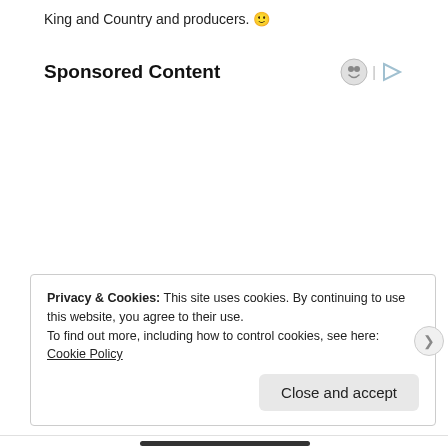King and Country and producers. 🙂
Sponsored Content
Privacy & Cookies: This site uses cookies. By continuing to use this website, you agree to their use.
To find out more, including how to control cookies, see here: Cookie Policy
Close and accept